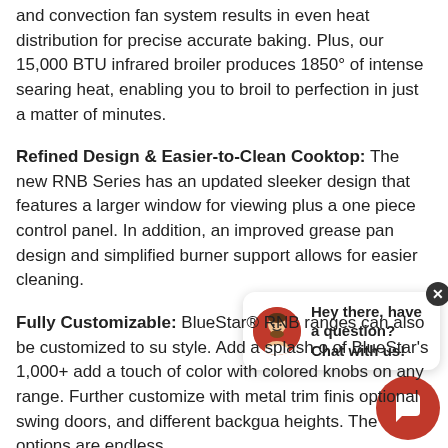and convection fan system results in even heat distribution for precise accurate baking. Plus, our 15,000 BTU infrared broiler produces 1850° of intense searing heat, enabling you to broil to perfection in just a matter of minutes.
Refined Design & Easier-to-Clean Cooktop: The new RNB Series has an updated sleeker design that features a larger window for viewing plus a one piece control panel. In addition, an improved grease pan design and simplified burner support allows for easier cleaning.
Fully Customizable: BlueStar® RNB ranges can also be customized to su[it your unique] style. Add a splash o[f color from one] of BlueStar's 1,000+ [colors or] add a touch of color with colored knobs on any [BlueStar] range. Further customize with metal trim finis[hes,] optional swing doors, and different backgua[rd] heights. The options are endless.
[Figure (other): Live chat widget overlay with avatar, speech bubble saying 'Hey there, have a question? Chat with us!' and a red FAB button with chat icon.]